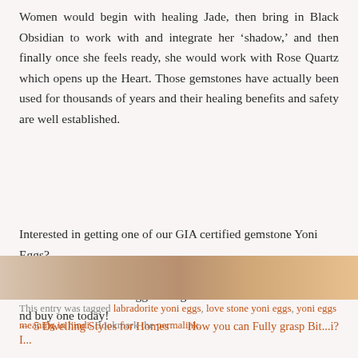Women would begin with healing Jade, then bring in Black Obsidian to work with and integrate her ‘shadow,’ and then finally once she feels ready, she would work with Rose Quartz which opens up the Heart. Those gemstones have actually been used for thousands of years and their healing benefits and safety are well established.
Interested in getting one of our GIA certified gemstone Yoni Eggs? Take advantage of the numerous
What is the best Yoni Egg for beginners
nd buy one today!
This entry was tagged labradorite yoni eggs, love stone yoni eggs, yoni eggs meaning in hindi. Bookmark the permalink.
[Figure (photo): Partial photo strip showing what appears to be food or organic material, amber/brown tones]
← 5 Dwelling Styles for Homes I...
How you can Fully grasp Bit...i?